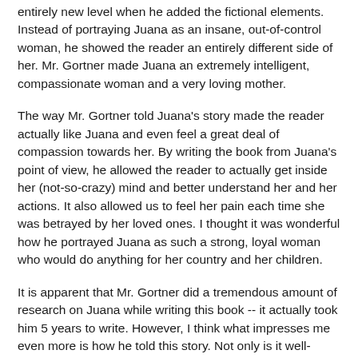entirely new level when he added the fictional elements. Instead of portraying Juana as an insane, out-of-control woman, he showed the reader an entirely different side of her. Mr. Gortner made Juana an extremely intelligent, compassionate woman and a very loving mother.
The way Mr. Gortner told Juana's story made the reader actually like Juana and even feel a great deal of compassion towards her. By writing the book from Juana's point of view, he allowed the reader to actually get inside her (not-so-crazy) mind and better understand her and her actions. It also allowed us to feel her pain each time she was betrayed by her loved ones. I thought it was wonderful how he portrayed Juana as such a strong, loyal woman who would do anything for her country and her children.
It is apparent that Mr. Gortner did a tremendous amount of research on Juana while writing this book -- it actually took him 5 years to write. However, I think what impresses me even more is how he told this story. Not only is it well-researched and beautifully written, but it is full of wonderful characters who provide lots of intrigue and excitement. I